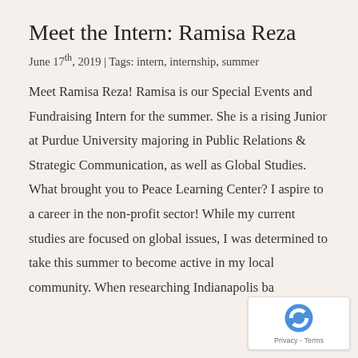Meet the Intern: Ramisa Reza
June 17th, 2019 | Tags: intern, internship, summer
Meet Ramisa Reza! Ramisa is our Special Events and Fundraising Intern for the summer. She is a rising Junior at Purdue University majoring in Public Relations & Strategic Communication, as well as Global Studies.   What brought you to Peace Learning Center? I aspire to a career in the non-profit sector! While my current studies are focused on global issues, I was determined to take this summer to become active in my local community. When researching Indianapolis ba